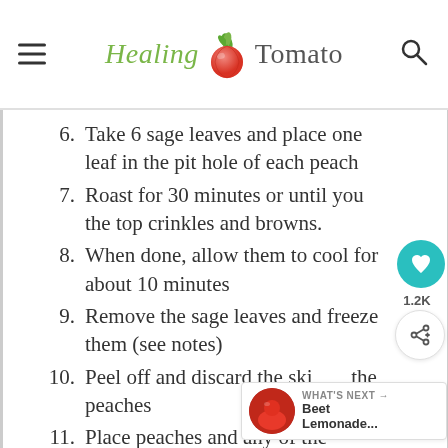Healing Tomato
6. Take 6 sage leaves and place one leaf in the pit hole of each peach
7. Roast for 30 minutes or until you the top crinkles and browns.
8. When done, allow them to cool for about 10 minutes
9. Remove the sage leaves and freeze them (see notes)
10. Peel off and discard the skin the peaches
11. Place peaches and any of the